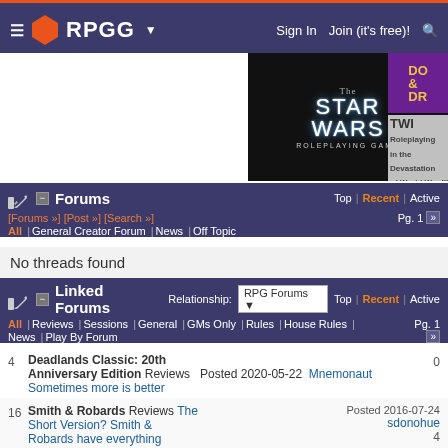RPGG — Sign In | Join (it's free)! | Search
[Figure (screenshot): Advertisement banners: Star Wars Roleplaying Game and Dungeons & Dragons / Twilight 2 partial banners]
Forums — Top | Recent | Active
[Forums »] [Post »] [Search »]   All | General Creator Forum | News | Off Topic   Pg. 1
No threads found
Linked Forums  Relationship: RPG Forums  Top | Recent | Active
All | Reviews | Sessions | General | GMs Only | Rules | House Rules | News | Play By Forum   Pg. 1
4  Deadlands Classic: 20th Anniversary Edition  Reviews  Posted 2020-05-22  Mnemonaut  0  Sometimes more is better
16  Smith & Robards  Reviews  The Short Version? Smith & Robards have everything you need to survive and a  Posted 2016-07-24  sdonohue  4